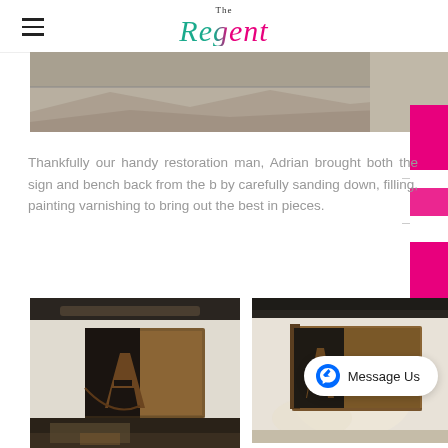The Regent
[Figure (photo): Top partial photo showing stone paving/roofing tiles in natural light]
Thankfully our handy restoration man, Adrian brought both the sign and bench back from the b by carefully sanding down, filling, painting varnishing to bring out the best in pieces.
[Figure (photo): Wooden pub sign mounted on a white wall, viewed from the side, showing carved lettering on dark wood with a warm brown finish]
[Figure (photo): Another angle of the wooden pub sign mounted on a white wall, showing the restored sign with text and warm varnished finish]
[Figure (photo): Partial view of a wooden sign or bench from below, partially visible at the bottom of the page]